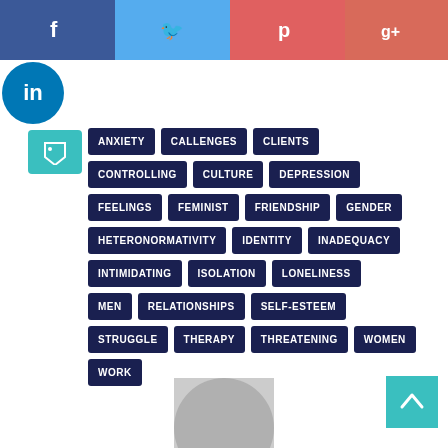[Figure (infographic): Social media sharing buttons bar: Facebook (blue), Twitter (light blue), Pinterest (red/pink), Google+ (salmon red)]
[Figure (infographic): LinkedIn circular button and tag/label icon in teal]
ANXIETY
CALLENGES
CLIENTS
CONTROLLING
CULTURE
DEPRESSION
FEELINGS
FEMINIST
FRIENDSHIP
GENDER
HETERONORMATIVITY
IDENTITY
INADEQUACY
INTIMIDATING
ISOLATION
LONELINESS
MEN
RELATIONSHIPS
SELF-ESTEEM
STRUGGLE
THERAPY
THREATENING
WOMEN
WORK
[Figure (photo): User avatar placeholder silhouette image at bottom center]